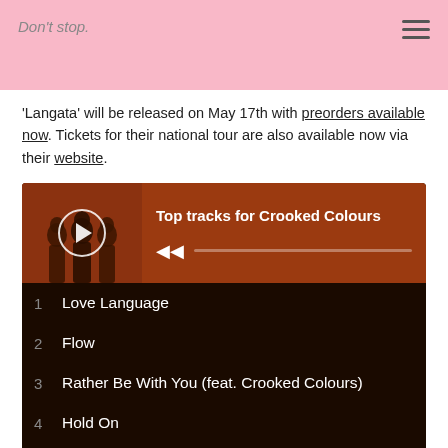Don't stop.
'Langata' will be released on May 17th with preorders available now. Tickets for their national tour are also available now via their website.
[Figure (screenshot): Spotify-style music player widget showing Top tracks for Crooked Colours with a play button, progress bar, and list of 5 tracks: 1 Love Language, 2 Flow, 3 Rather Be With You (feat. Crooked Colours), 4 Hold On, 5 Do It Like You]
Tweet
0 Comments